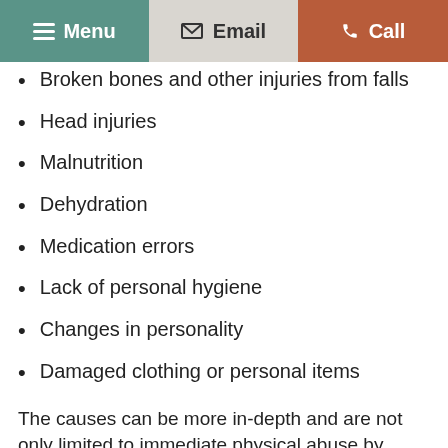Menu | Email | Call
Broken bones and other injuries from falls
Head injuries
Malnutrition
Dehydration
Medication errors
Lack of personal hygiene
Changes in personality
Damaged clothing or personal items
The causes can be more in-depth and are not only limited to immediate physical abuse by caregivers. Other causes include:
Abuse by other residents
Lack of supervision